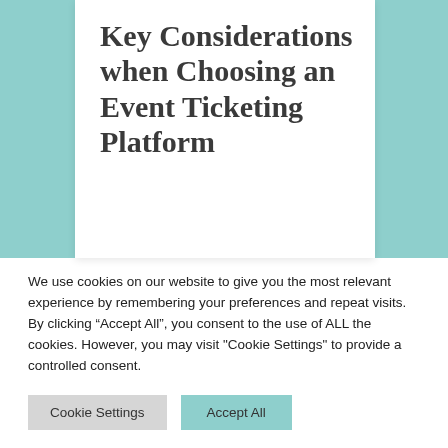Key Considerations when Choosing an Event Ticketing Platform
We use cookies on our website to give you the most relevant experience by remembering your preferences and repeat visits. By clicking “Accept All”, you consent to the use of ALL the cookies. However, you may visit "Cookie Settings" to provide a controlled consent.